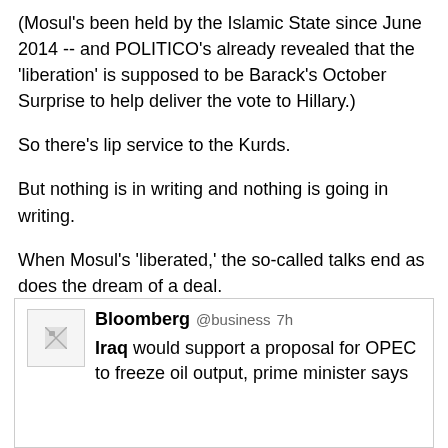(Mosul's been held by the Islamic State since June 2014 -- and POLITICO's already revealed that the 'liberation' is supposed to be Barack's October Surprise to help deliver the vote to Hillary.)
So there's lip service to the Kurds.
But nothing is in writing and nothing is going in writing.
When Mosul's 'liberated,' the so-called talks end as does the dream of a deal.
[Figure (screenshot): Embedded social media tweet area (partially visible, blank upper portion)]
Bloomberg @business 7h
Iraq would support a proposal for OPEC to freeze oil output, prime minister says